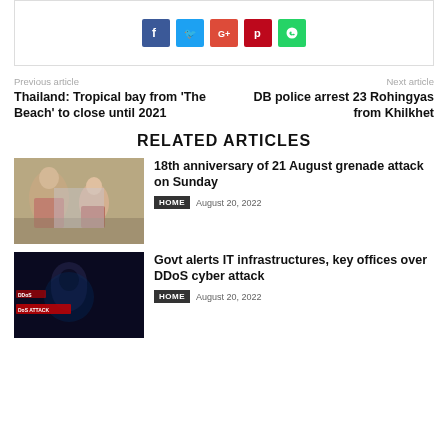[Figure (other): Social media share buttons: Facebook, Twitter, Google+, Pinterest, WhatsApp]
Previous article
Next article
Thailand: Tropical bay from 'The Beach' to close until 2021
DB police arrest 23 Rohingyas from Khilkhet
RELATED ARTICLES
[Figure (photo): People scene related to 21 August grenade attack anniversary]
18th anniversary of 21 August grenade attack on Sunday
HOME  August 20, 2022
[Figure (photo): Dark hacker/cyber attack themed image with text DDoS ATTACK]
Govt alerts IT infrastructures, key offices over DDoS cyber attack
HOME  August 20, 2022